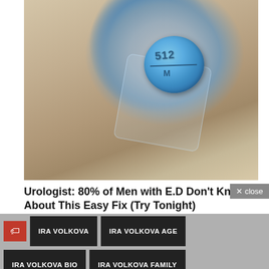[Figure (photo): Close-up photo of a blue pill tablet (marked 512) in clear plastic blister packaging, resting on a light beige/tan surface]
Urologist: 80% of Men with E.D Don't Know About This Easy Fix (Try Tonight)
VigorNow
× close
IRA VOLKOVA
IRA VOLKOVA AGE
IRA VOLKOVA BIO
IRA VOLKOVA FAMILY
IRA VOLKOVA IMAGE
IRA VOLKOVA SPOUSE